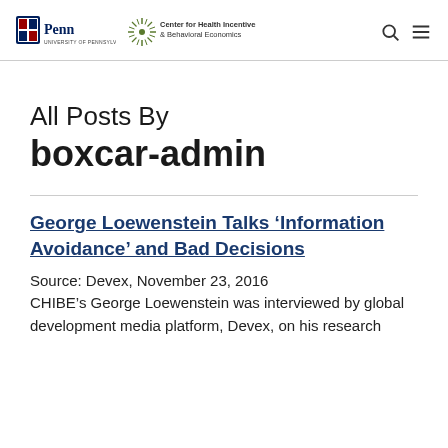Penn | Center for Health Incentives & Behavioral Economics
All Posts By boxcar-admin
George Loewenstein Talks 'Information Avoidance' and Bad Decisions
Source: Devex, November 23, 2016 CHIBE's George Loewenstein was interviewed by global development media platform, Devex, on his research